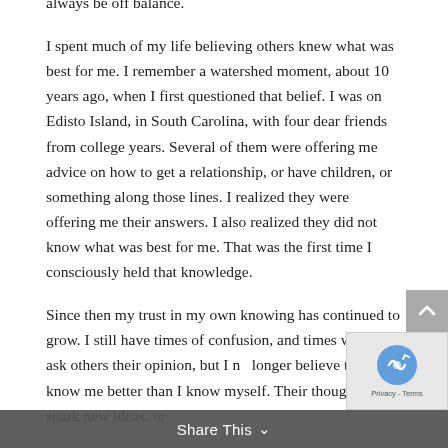always be off balance.

I spent much of my life believing others knew what was best for me. I remember a watershed moment, about 10 years ago, when I first questioned that belief. I was on Edisto Island, in South Carolina, with four dear friends from college years. Several of them were offering me advice on how to get a relationship, or have children, or something along those lines. I realized they were offering me their answers. I also realized they did not know what was best for me. That was the first time I consciously held that knowledge.

Since then my trust in my own knowing has continued to grow. I still have times of confusion, and times when I ask others their opinion, but I no longer believe they know me better than I know myself. Their thoughts can spark new ideas, or
Share This